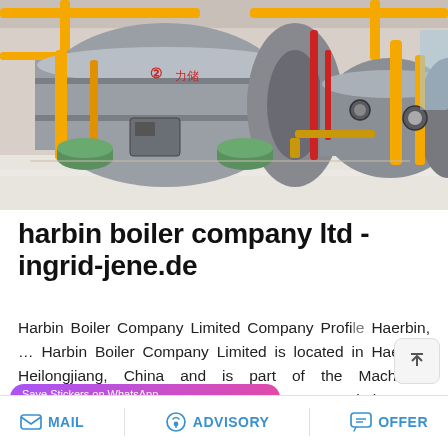[Figure (photo): Industrial boiler equipment in a factory setting — two large cylindrical horizontal boilers with yellow pipe supports, red piping, gauges and fittings on a polished floor with white walls.]
harbin boiler company ltd - ingrid-jene.de
Harbin Boiler Company Limited Company Profile Haerbin, ... Harbin Boiler Company Limited is located in Haerbin, Heilongjiang, China and is part of the Machinery Manufacturing Industry. Harbin Boiler Company Limite...
[Figure (screenshot): WhatsApp sticker saver app banner with purple-pink gradient background showing 'Save Stickers on WhatsApp' text and two circular icons (WhatsApp and WeChat logos)]
MAIL   ADVISORY   OFFER